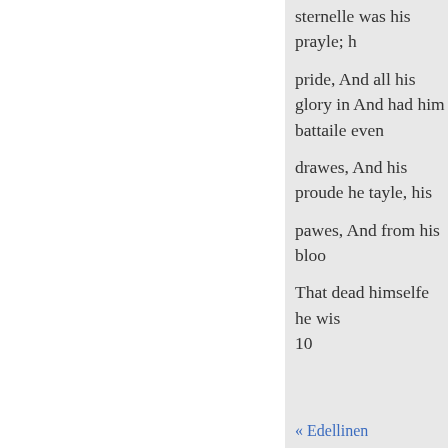sternelle was his prayle; h
pride, And all his glory in And had him battaile even
drawes, And his proude he tayle, his
pawes, And from his bloo
That dead himselfe he wis 10
What time the Romaine E might, The nations gan the bondage
quight: So, when all shrou of a mayde, Poffest nigh o bewrayde: If then a Goose patron of the place, 150 Pr
« Edellinen